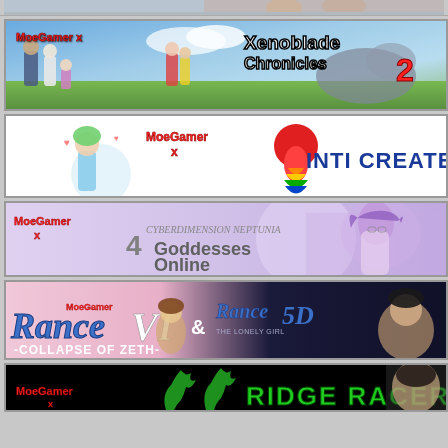[Figure (illustration): Partial banner at top, cut off, showing anime/game characters]
[Figure (illustration): MoeGamer x Xenoblade Chronicles 2 banner with anime characters on grassy field]
[Figure (illustration): MoeGamer x Inti Creates banner with anime character and colorful Inti Creates logo]
[Figure (illustration): MoeGamer x 4Goddesses Online (Cyberdimension Neptunia) banner with purple-haired anime girl]
[Figure (illustration): MoeGamer x Rance VI -Collapse of Zeth- & Rance 5D -The Lonely Girl- banner]
[Figure (illustration): MoeGamer x Ridge Racer banner, partially visible at bottom, dark background with green text]